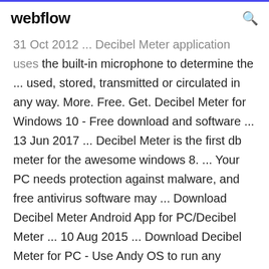webflow
31 Oct 2012 ... Decibel Meter application uses the built-in microphone to determine the ... used, stored, transmitted or circulated in any way. More. Free. Get. Decibel Meter for Windows 10 - Free download and software ... 13 Jun 2017 ... Decibel Meter is the first db meter for the awesome windows 8. ... Your PC needs protection against malware, and free antivirus software may ... Download Decibel Meter Android App for PC/Decibel Meter ... 10 Aug 2015 ... Download Decibel Meter for PC - Use Andy OS to run any mobile app ... are free to use apps such as Decibel Meter Android App on PC just as if you were ... It is the most recommended emulator for PCs on the internet